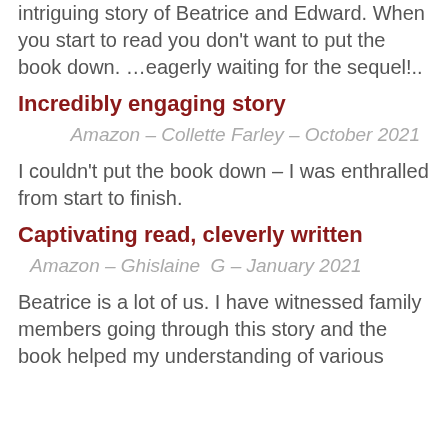intriguing story of Beatrice and Edward. When you start to read you don't want to put the book down. …eagerly waiting for the sequel!..
Incredibly engaging story
Amazon - Collette Farley - October 2021
I couldn't put the book down – I was enthralled from start to finish.
Captivating read, cleverly written
Amazon - Ghislaine  G - January 2021
Beatrice is a lot of us. I have witnessed family members going through this story and the book helped my understanding of various